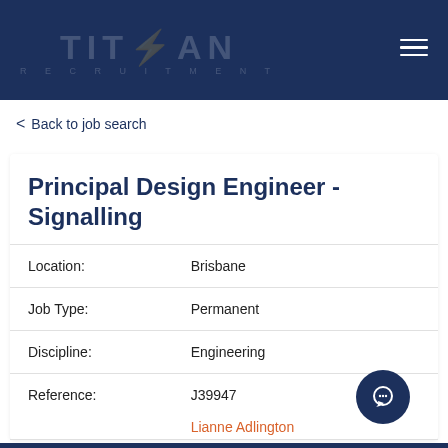TITAN RECRUITMENT
< Back to job search
Principal Design Engineer - Signalling
|  |  |
| --- | --- |
| Location: | Brisbane |
| Job Type: | Permanent |
| Discipline: | Engineering |
| Reference: | J39947 |
Lianne Adlington